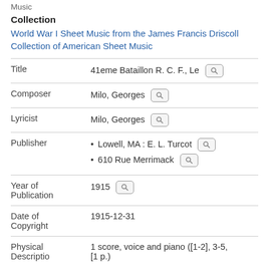Music
Collection
World War I Sheet Music from the James Francis Driscoll Collection of American Sheet Music
| Field | Value |
| --- | --- |
| Title | 41eme Bataillon R. C. F., Le |
| Composer | Milo, Georges |
| Lyricist | Milo, Georges |
| Publisher | Lowell, MA : E. L. Turcot; 610 Rue Merrimack |
| Year of Publication | 1915 |
| Date of Copyright | 1915-12-31 |
| Physical Description | 1 score, voice and piano ([1-2], 3-5, [1 p.) |